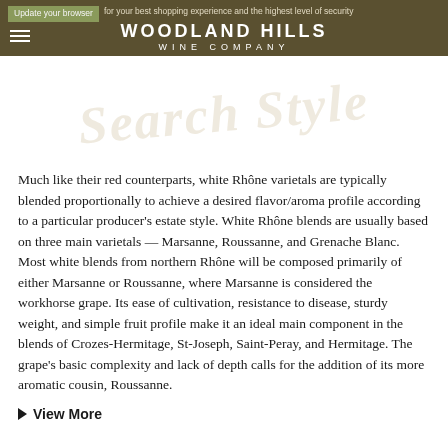WOODLAND HILLS WINE COMPANY
Much like their red counterparts, white Rhône varietals are typically blended proportionally to achieve a desired flavor/aroma profile according to a particular producer's estate style. White Rhône blends are usually based on three main varietals — Marsanne, Roussanne, and Grenache Blanc. Most white blends from northern Rhône will be composed primarily of either Marsanne or Roussanne, where Marsanne is considered the workhorse grape. Its ease of cultivation, resistance to disease, sturdy weight, and simple fruit profile make it an ideal main component in the blends of Crozes-Hermitage, St-Joseph, Saint-Peray, and Hermitage. The grape's basic complexity and lack of depth calls for the addition of its more aromatic cousin, Roussanne.
▶ View More